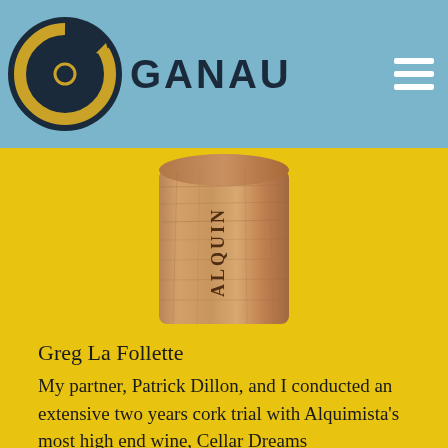GANAU
[Figure (photo): A wine cork with the text 'ALQUIN' printed on it, photographed against a yellow background]
Greg La Follette
My partner, Patrick Dillon, and I conducted an extensive two years cork trial with Alquimista's most high end wine, Cellar Dreams ($94/bottle).  We compared UNIQ with a solid natural cork and synthetic closure.